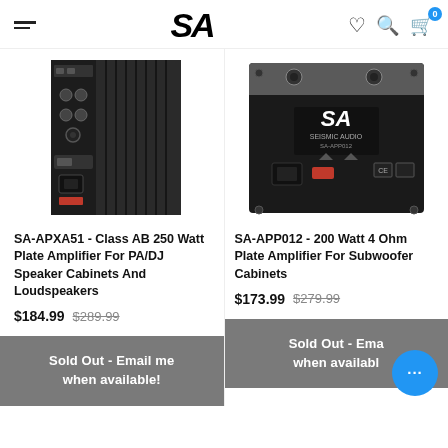SA (Seismic Audio) — navigation header with hamburger menu, logo, heart, search, and cart icons
[Figure (photo): Photo of SA-APXA51 Class AB 250 Watt Plate Amplifier, showing control panel side]
[Figure (photo): Photo of SA-APP012 200 Watt 4 Ohm Plate Amplifier, showing back panel with SA Seismic Audio logo]
SA-APXA51 - Class AB 250 Watt Plate Amplifier For PA/DJ Speaker Cabinets And Loudspeakers
SA-APP012 - 200 Watt 4 Ohm Plate Amplifier For Subwoofer Cabinets
$184.99  $289.99
$173.99  $279.99
Sold Out - Email me when available!
Sold Out - Email me when available!